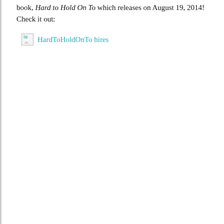book, Hard to Hold On To which releases on August 19, 2014! Check it out:
[Figure (other): Broken image placeholder icon followed by a teal hyperlink text reading 'HardToHoldOnTo hires']